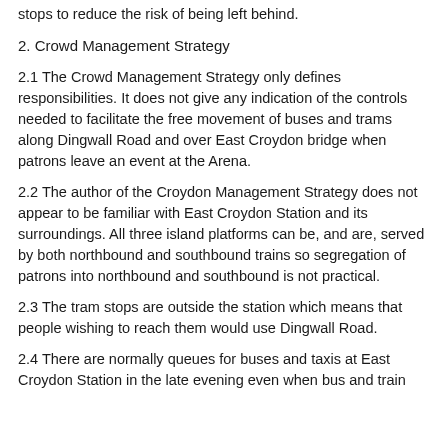stops to reduce the risk of being left behind.
2. Crowd Management Strategy
2.1 The Crowd Management Strategy only defines responsibilities. It does not give any indication of the controls needed to facilitate the free movement of buses and trams along Dingwall Road and over East Croydon bridge when patrons leave an event at the Arena.
2.2 The author of the Croydon Management Strategy does not appear to be familiar with East Croydon Station and its surroundings. All three island platforms can be, and are, served by both northbound and southbound trains so segregation of patrons into northbound and southbound is not practical.
2.3 The tram stops are outside the station which means that people wishing to reach them would use Dingwall Road.
2.4 There are normally queues for buses and taxis at East Croydon Station in the late evening even when bus and train